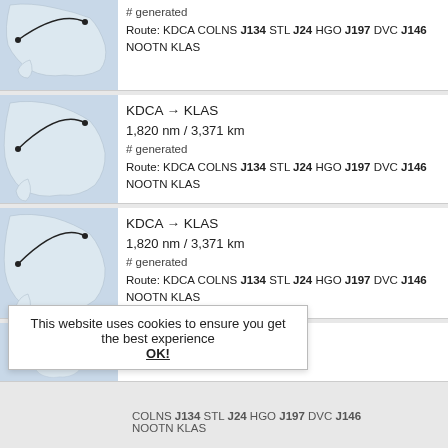[Figure (map): Map of North America showing flight route from KDCA to KLAS with arc line]
# generated
Route: KDCA COLNS J134 STL J24 HGO J197 DVC J146 NOOTN KLAS
[Figure (map): Map of North America showing flight route from KDCA to KLAS with arc line]
KDCA → KLAS
1,820 nm / 3,371 km
# generated
Route: KDCA COLNS J134 STL J24 HGO J197 DVC J146 NOOTN KLAS
[Figure (map): Map of North America showing flight route from KDCA to KLAS with arc line]
KDCA → KLAS
1,820 nm / 3,371 km
# generated
Route: KDCA COLNS J134 STL J24 HGO J197 DVC J146 NOOTN KLAS
[Figure (map): Map of North America showing flight route from KDCA to KLAS with arc line]
KDCA → KLAS
1,820 nm / 3,371 km
Route: KDCA COLNS J134 STL J24 HGO J197 DVC J146 NOOTN KLAS
This website uses cookies to ensure you get the best experience
OK!